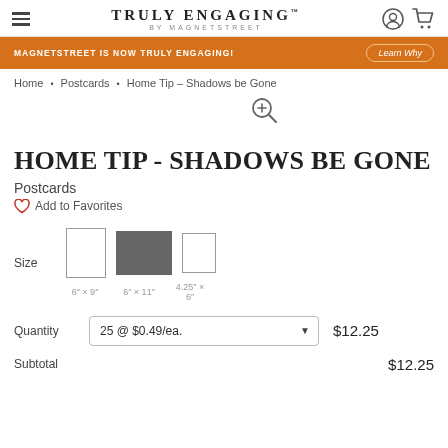TRULY ENGAGING by MAGNETSTREET
MAGNETSTREET IS NOW TRULY ENGAGING!
Learn Why
Home • Postcards • Home Tip – Shadows be Gone
HOME TIP - SHADOWS BE GONE
Postcards
Add to Favorites
Size  6" x 9"  6" x 11"  4.25" x 6"
Quantity  25 @ $0.49/ea.  $12.25
Subtotal  $12.25